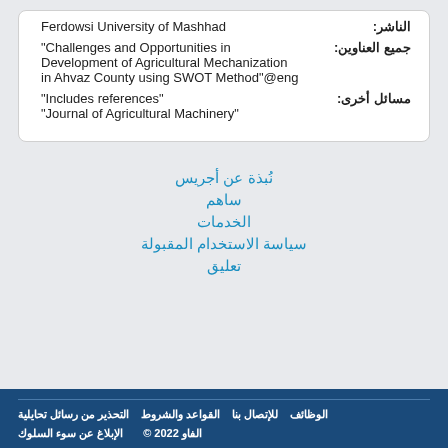| الناشر: | Ferdowsi University of Mashhad |
| جميع العناوين: | "Challenges and Opportunities in Development of Agricultural Mechanization in Ahvaz County using SWOT Method"@eng |
| مسائل أخرى: | "Includes references"
"Journal of Agricultural Machinery" |
نُبذة عن أجريس
ساهم
الخدمات
سياسة الاستخدام المقبولة
تعليق
التحذير من رسائل تحايلية  القواعد والشروط  للإتصال بنا  الوظائف  الإبلاغ عن سوء السلوك  © الفاو 2022